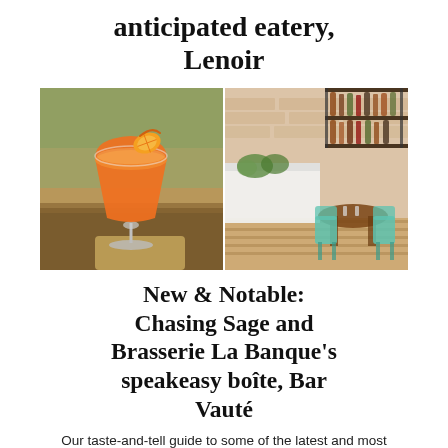anticipated eatery, Lenoir
[Figure (photo): Two side-by-side food and beverage photos: left shows an orange cocktail in a coupe glass with an orange slice garnish on a wooden surface; right shows a restaurant interior with wooden tables, mint-green chairs, and shelves with bottles on a brick wall.]
New & Notable: Chasing Sage and Brasserie La Banque's speakeasy boîte, Bar Vauté
Our taste-and-tell guide to some of the latest and most noteworthy F&B offerings